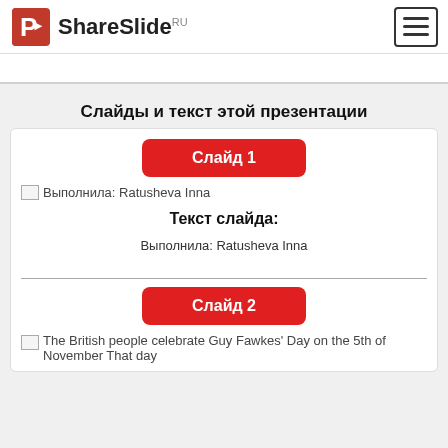ShareSlide RU
Слайды и текст этой презентации
Слайд 1
[Figure (screenshot): Broken image placeholder with alt text: Выполнила: Ratusheva Inna]
Текст слайда:
Выполнила: Ratusheva Inna
Слайд 2
[Figure (screenshot): Broken image placeholder with alt text: The British people celebrate Guy Fawkes' Day on the 5th of November That day]